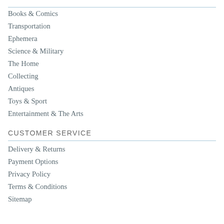Books & Comics
Transportation
Ephemera
Science & Military
The Home
Collecting
Antiques
Toys & Sport
Entertainment & The Arts
CUSTOMER SERVICE
Delivery & Returns
Payment Options
Privacy Policy
Terms & Conditions
Sitemap